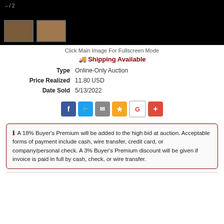[Figure (photo): Black banner with two thumbnail images of a wooden furniture piece (dresser/sideboard), with page counter '– / 2' at top left]
Click Main Image For Fullscreen Mode
🚚 Shipping Available
Type: Online-Only Auction
Price Realized: 11.80 USD
Date Sold: 5/13/2022
[Figure (infographic): Social share buttons: Facebook, Twitter, Email, Star/Favorite, Google+, Plus]
ℹ A 18% Buyer's Premium will be added to the high bid at auction. Acceptable forms of payment include cash, wire transfer, credit card, or company/personal check. A 3% Buyer's Premium discount will be given if invoice is paid in full by cash, check, or wire transfer.